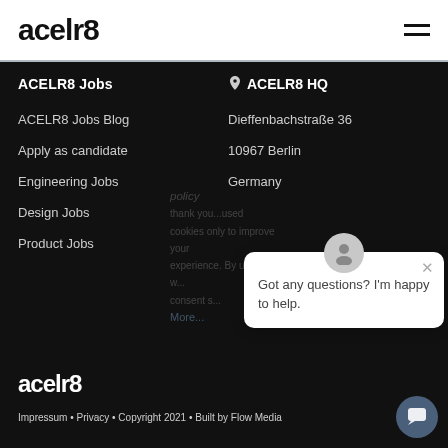acelr8
ACELR8 Jobs
ACELR8 Jobs Blog
Apply as candidate
Engineering Jobs
Design Jobs
Product Jobs
ACELR8 HQ
Dieffenbachstraße 36
10967 Berlin
Germany
[Figure (screenshot): Chat popup with avatar icon and message: Got any questions? I'm happy to help.]
acelr8
Impressum • Privacy • Copyright 2021 • Built by Flow Media